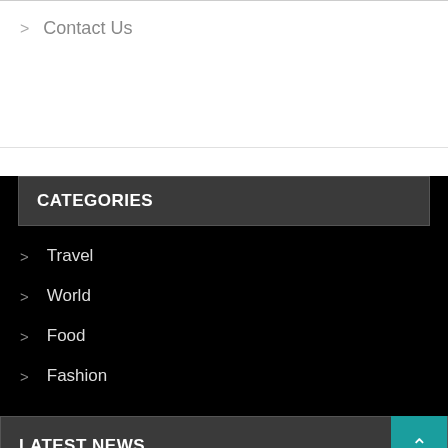> Contact Us
CATEGORIES
> Travel
> World
> Food
> Fashion
LATEST NEWS